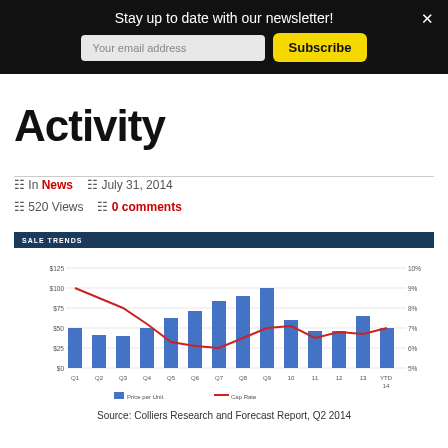Stay up to date with our newsletter!
Activity
In News   July 31, 2014   520 Views   0 comments
[Figure (bar-chart): Bar chart showing median price per unit and cap rate across quarters]
Source: Colliers Research and Forecast Report, Q2 2014